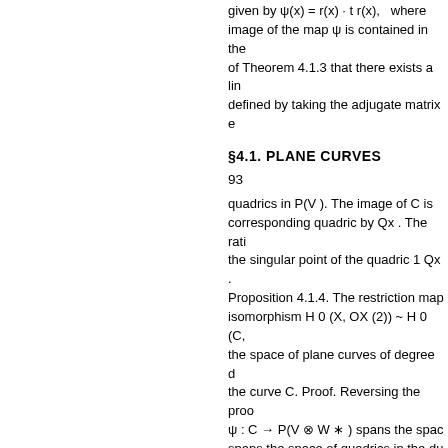given by ψ(x) = r(x) · t r(x), where image of the map ψ is contained in the of Theorem 4.1.3 that there exists a lin defined by taking the adjugate matrix e
§4.1. PLANE CURVES
93
quadrics in P(V ). The image of C is corresponding quadric by Qx . The rat the singular point of the quadric 1 Qx Proposition 4.1.4. The restriction ma isomorphism H 0 (X, OX (2)) ~ H 0 (C the space of plane curves of degree d the curve C. Proof. Reversing the pro ψ : C → P(V ⊗ W ∗ ) spans the spa spans the space of quadrics in the d would be apolar to all quadrics in the spaces have the same dimension, it m and the isomorphism |OP(V ) (2)| ~ |O first polars x → Px (C). We have to sh In the next lemma we will show that th singular point of Qc equal to r(c). This curves s(x) and s (x) of degree d − 1 c V ∗ be a linear system of hypersurface x ∈ D is a nonsingular point. Then th embedded tangent space Tx (D) is eq